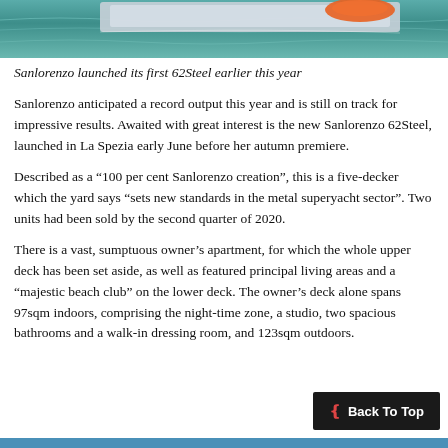[Figure (photo): Top portion of a yacht/boat on teal-green water, with an orange lifeboat or tender visible on the rear deck.]
Sanlorenzo launched its first 62Steel earlier this year
Sanlorenzo anticipated a record output this year and is still on track for impressive results. Awaited with great interest is the new Sanlorenzo 62Steel, launched in La Spezia early June before her autumn premiere.
Described as a “100 per cent Sanlorenzo creation”, this is a five-decker which the yard says “sets new standards in the metal superyacht sector”. Two units had been sold by the second quarter of 2020.
There is a vast, sumptuous owner’s apartment, for which the whole upper deck has been set aside, as well as featured principal living areas and a “majestic beach club” on the lower deck. The owner’s deck alone spans 97sqm indoors, comprising the night-time zone, a studio, two spacious bathrooms and a walk-in dressing room, and 123sqm outdoors.